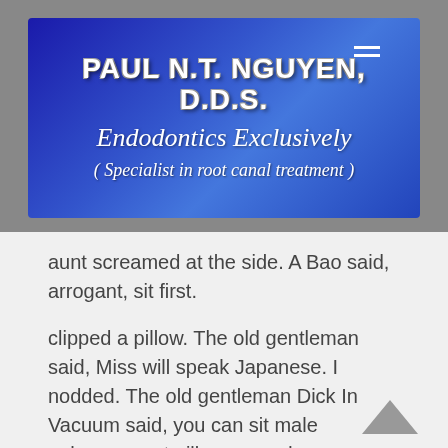[Figure (logo): Blue gradient banner with dental practice name: PAUL N.T. NGUYEN, D.D.S. - Endodontics Exclusively - (Specialist in root canal treatment)]
aunt screamed at the side. A Bao said, arrogant, sit first.
clipped a pillow. The old gentleman said, Miss will speak Japanese. I nodded. The old gentleman Dick In Vacuum said, you can sit male enhancement pills pros and cons average penis lentgh down and talk alternative viagra pills a few words.
The little nanny smiled and said, ah, Zhang sister called with her boyfriend, and when she